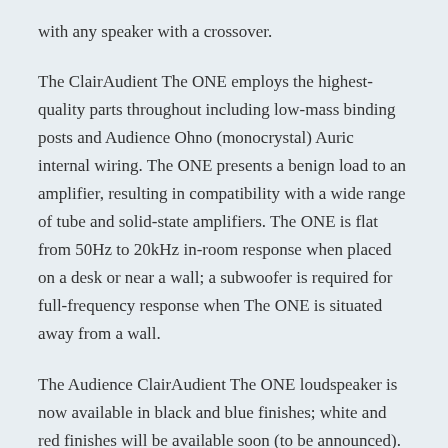with any speaker with a crossover.
The ClairAudient The ONE employs the highest-quality parts throughout including low-mass binding posts and Audience Ohno (monocrystal) Auric internal wiring. The ONE presents a benign load to an amplifier, resulting in compatibility with a wide range of tube and solid-state amplifiers. The ONE is flat from 50Hz to 20kHz in-room response when placed on a desk or near a wall; a subwoofer is required for full-frequency response when The ONE is situated away from a wall.
The Audience ClairAudient The ONE loudspeaker is now available in black and blue finishes; white and red finishes will be available soon (to be announced).